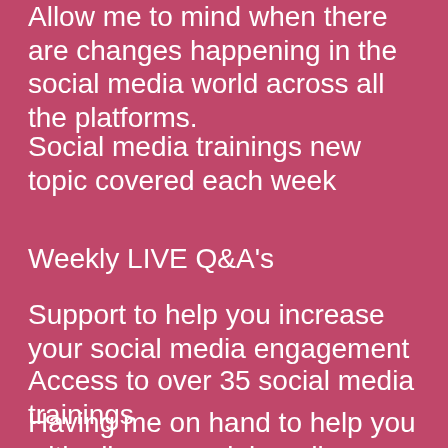Allow me to mind when there are changes happening in the social media world across all the platforms.
Social media trainings new topic covered each week
Weekly LIVE Q&A's
Support to help you increase your social media engagement
Access to over 35 social media trainings
Having me on hand to help you with all your social media issues 24/7